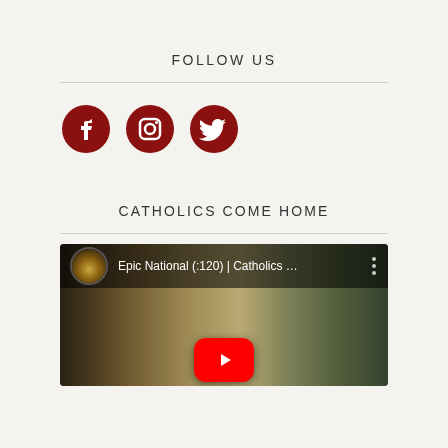FOLLOW US
[Figure (illustration): Social media icons: Facebook, Instagram, Twitter in dark red/maroon color]
CATHOLICS COME HOME
[Figure (screenshot): YouTube video embed showing 'Epic National (:120) | Catholics ...' with a play button overlay and scene of people outdoors]